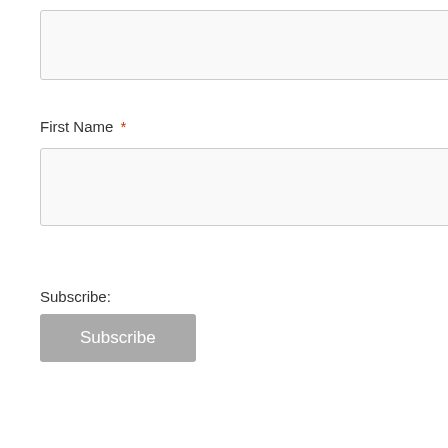[Figure (screenshot): Text input field (empty), no label visible in cropped area]
First Name *
[Figure (screenshot): Text input field (empty) for First Name]
Subscribe:
[Figure (screenshot): Subscribe button, grey background with white text 'Subscribe']